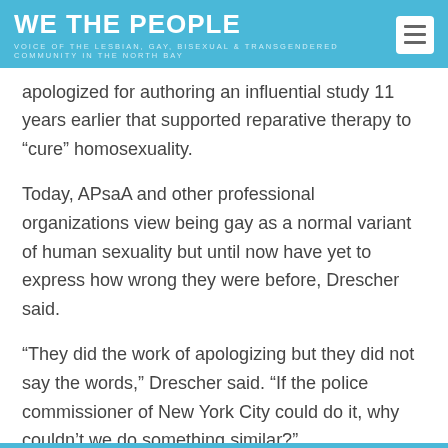WE THE PEOPLE
VOICE OF THE LESBIAN, GAY, BISEXUAL & TRANSGENDERED COMMUNITY IN THE NORTH BAY
apologized for authoring an influential study 11 years earlier that supported reparative therapy to “cure” homosexuality.
Today, APsaA and other professional organizations view being gay as a normal variant of human sexuality but until now have yet to express how wrong they were before, Drescher said.
“They did the work of apologizing but they did not say the words,” Drescher said. “If the police commissioner of New York City could do it, why couldn’t we do something similar?”